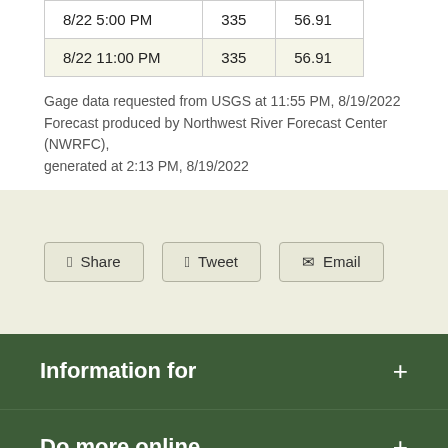| 8/22 5:00 PM | 335 | 56.91 |
| 8/22 11:00 PM | 335 | 56.91 |
Gage data requested from USGS at 11:55 PM, 8/19/2022 Forecast produced by Northwest River Forecast Center (NWRFC), generated at 2:13 PM, 8/19/2022
Share | Tweet | Email
Information for +
Do more online +